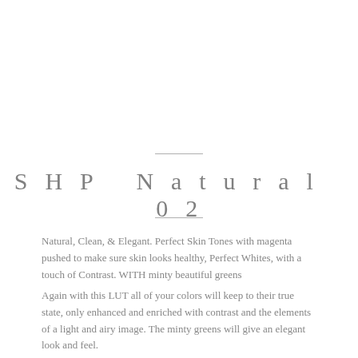SHP Natural 02
Natural, Clean, & Elegant. Perfect Skin Tones with magenta pushed to make sure skin looks healthy, Perfect Whites, with a touch of Contrast. WITH minty beautiful greens
Again with this LUT all of your colors will keep to their true state, only enhanced and enriched with contrast and the elements of a light and airy image. The minty greens will give an elegant look and feel.